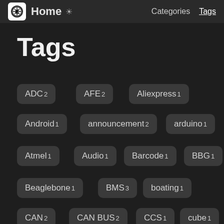Home  Categories  Tags
Tags
ADC 2
AFE 2
Aliexpress 1
Android 1
announcement 2
arduino 1
Atmel 1
Audio 1
Barcode 1
BBG 1
Beaglebone 1
BMS 3
boating 1
CAN 2
CAN BUS 2
CCS 1
cube 1